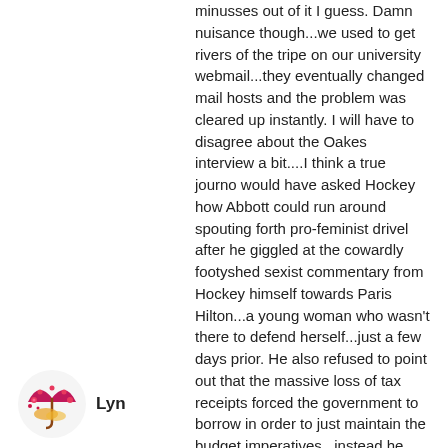minusses out of it I guess. Damn nuisance though...we used to get rivers of the tripe on our university webmail...they eventually changed mail hosts and the problem was cleared up instantly. I will have to disagree about the Oakes interview a bit....I think a true journo would have asked Hockey how Abbott could run around spouting forth pro-feminist drivel after he giggled at the cowardly footyshed sexist commentary from Hockey himself towards Paris Hilton...a young woman who wasn't there to defend herself...just a few days prior. He also refused to point out that the massive loss of tax receipts forced the government to borrow in order to just maintain the budget imperatives...instead he chose to let Hockey rave on ad nauseum about debt and waste. I wonder what would have happened to this country if the government had just taken that $170 billion in lost tax receipts straight out of the budget...it is too horrible to contemplate really.
Lyn